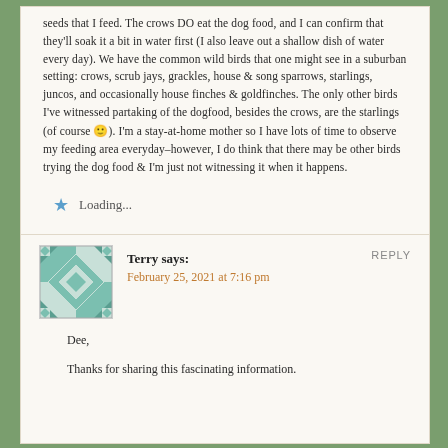seeds that I feed. The crows DO eat the dog food, and I can confirm that they'll soak it a bit in water first (I also leave out a shallow dish of water every day). We have the common wild birds that one might see in a suburban setting: crows, scrub jays, grackles, house & song sparrows, starlings, juncos, and occasionally house finches & goldfinches. The only other birds I've witnessed partaking of the dogfood, besides the crows, are the starlings (of course 🙂). I'm a stay-at-home mother so I have lots of time to observe my feeding area everyday–however, I do think that there may be other birds trying the dog food & I'm just not witnessing it when it happens.
Loading...
REPLY
Terry says:
February 25, 2021 at 7:16 pm
Dee,
Thanks for sharing this fascinating information.